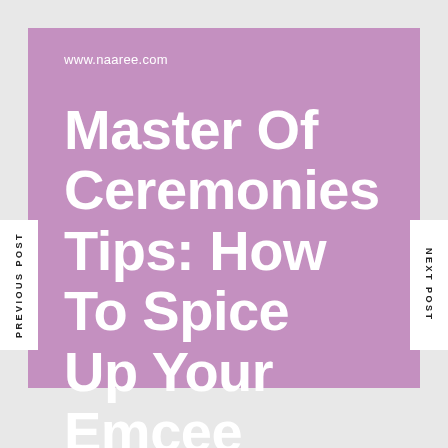www.naaree.com
Master Of Ceremonies Tips: How To Spice Up Your Emcee Script
PREVIOUS POST
NEXT POST